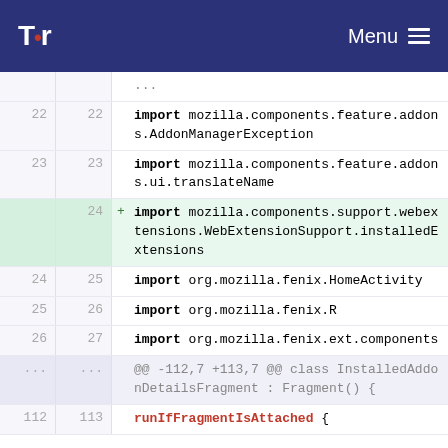Tor  Menu
22  22  import mozilla.components.feature.addons.AddonManagerException
23  23  import mozilla.components.feature.addons.ui.translateName
+  24  import mozilla.components.support.webextensions.WebExtensionSupport.installedExtensions
24  25  import org.mozilla.fenix.HomeActivity
25  26  import org.mozilla.fenix.R
26  27  import org.mozilla.fenix.ext.components
...  ...  @@ -112,7 +113,7 @@ class InstalledAddonDetailsFragment : Fragment() {
112  113  runIfFragmentIsAttached {